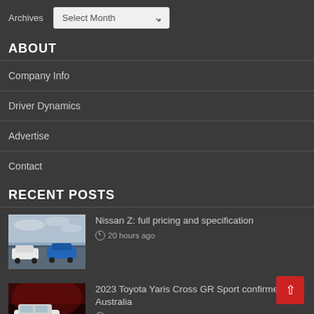Archives  Select Month
ABOUT
Company Info
Driver Dynamics
Advertise
Contact
RECENT POSTS
Nissan Z: full pricing and specification
20 hours ago
[Figure (photo): Two cars (white and blue) parked on a wet surface with overcast sky]
2023 Toyota Yaris Cross GR Sport confirmed for Australia
3 days ago
[Figure (photo): White SUV against a dark red background]